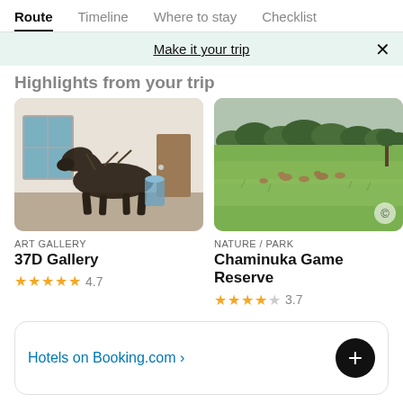Route | Timeline | Where to stay | Checklist
Make it your trip ×
Highlights from your trip
[Figure (photo): Sculpture of an animal made from dark twisted branches/wood, displayed in a gallery interior]
ART GALLERY
37D Gallery
★★★★★ 4.7
[Figure (photo): Green savanna landscape with trees in the background and animals (deer/antelope) grazing in the grass]
NATURE / PARK
Chaminuka Game Reserve
★★★★☆ 3.7
Hotels on Booking.com ›